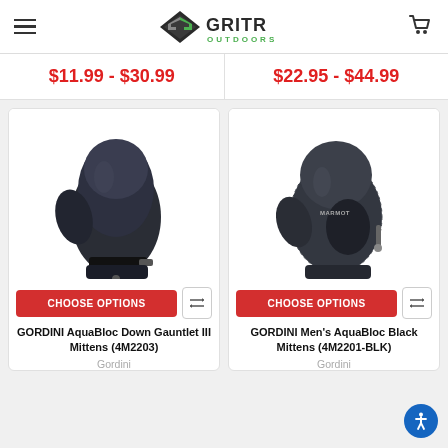GRITR OUTDOORS
$11.99 - $30.99
$22.95 - $44.99
[Figure (photo): Black winter mitten, GORDINI AquaBloc Down Gauntlet III Mittens (4M2203)]
[Figure (photo): Black winter mitten, GORDINI Men's AquaBloc Black Mittens (4M2201-BLK)]
GORDINI AquaBloc Down Gauntlet III Mittens (4M2203)
Gordini
GORDINI Men's AquaBloc Black Mittens (4M2201-BLK)
Gordini